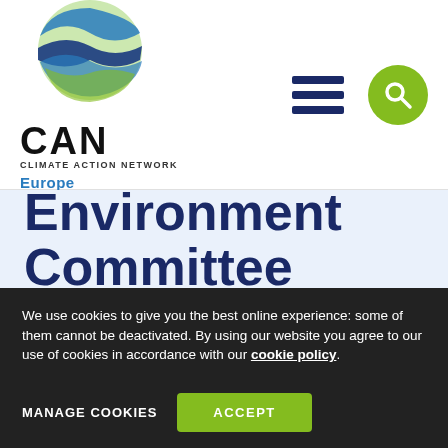[Figure (logo): CAN Climate Action Network Europe logo — circular globe graphic with blue and green wave bands, text CAN in bold black, CLIMATE ACTION NETWORK in small caps, Europe in blue]
Environment Committee takes
We use cookies to give you the best online experience: some of them cannot be deactivated. By using our website you agree to our use of cookies in accordance with our cookie policy.
MANAGE COOKIES   ACCEPT